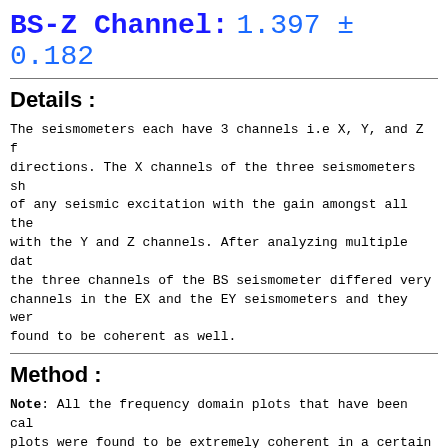BS-Z Channel: 1.397 ± 0.182
Details :
The seismometers each have 3 channels i.e X, Y, and Z f directions. The X channels of the three seismometers sh of any seismic excitation with the gain amongst all the with the Y and Z channels. After analyzing multiple dat the three channels of the BS seismometer differed very channels in the EX and the EY seismometers and they wer found to be coherent as well.
Method :
Note: All the frequency domain plots that have been cal plots were found to be extremely coherent in a certain frequency range is used to understand the relative cali function is because of the error caused by coherence va performed for the Welch function. 9 averages have been in mind the needed frequency resolution(~0.01Hz) and th frequency.
I first analyzed the regions in which the similar proper gain analysis. The EY seismometer was found used as a reference. I saw the coherence between s bode plots together. A transfer function estimato